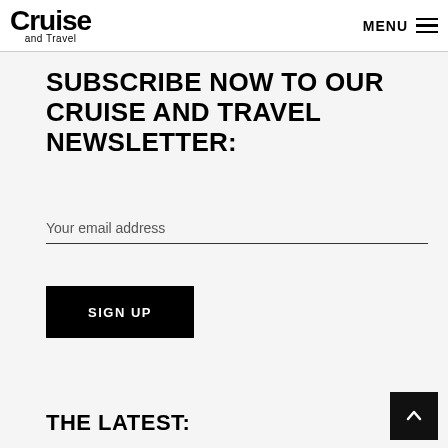Cruise and Travel | MENU
SUBSCRIBE NOW TO OUR CRUISE AND TRAVEL NEWSLETTER:
Your email address
SIGN UP
THE LATEST: